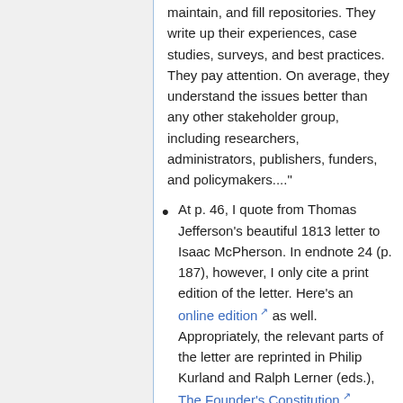maintain, and fill repositories. They write up their experiences, case studies, surveys, and best practices. They pay attention. On average, they understand the issues better than any other stakeholder group, including researchers, administrators, publishers, funders, and policymakers...."
At p. 46, I quote from Thomas Jefferson's beautiful 1813 letter to Isaac McPherson. In endnote 24 (p. 187), however, I only cite a print edition of the letter. Here's an online edition as well. Appropriately, the relevant parts of the letter are reprinted in Philip Kurland and Ralph Lerner (eds.), The Founder's Constitution, University of Chicago,